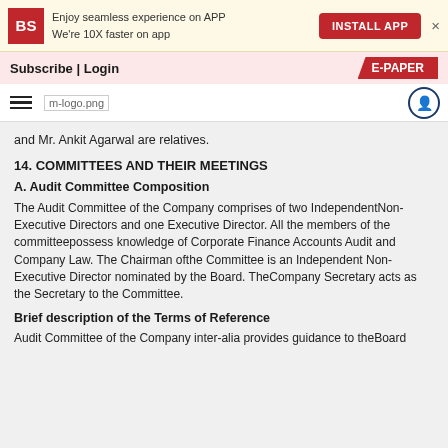Enjoy seamless experience on APP
We're 10X faster on app | INSTALL APP
Subscribe | Login  E-PAPER
m-logo.png
and Mr. Ankit Agarwal are relatives.
14. COMMITTEES AND THEIR MEETINGS
A. Audit Committee Composition
The Audit Committee of the Company comprises of two IndependentNon-Executive Directors and one Executive Director. All the members of the committeepossess knowledge of Corporate Finance Accounts Audit and Company Law. The Chairman ofthe Committee is an Independent Non-Executive Director nominated by the Board. TheCompany Secretary acts as the Secretary to the Committee.
Brief description of the Terms of Reference
Audit Committee of the Company inter-alia provides guidance to theBoard on the adequacy of the internal control and financial disclosures. The